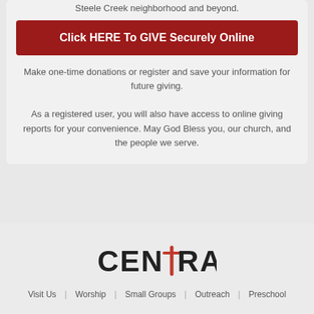Steele Creek neighborhood and beyond.
Click HERE To GIVE Securely Online
Make one-time donations or register and save your information for future giving.
As a registered user, you will also have access to online giving reports for your convenience. May God Bless you, our church, and the people we serve.
[Figure (logo): Central Church logo with stylized cross replacing the T in CENTRAL]
Visit Us  Worship  Small Groups  Outreach  Preschool